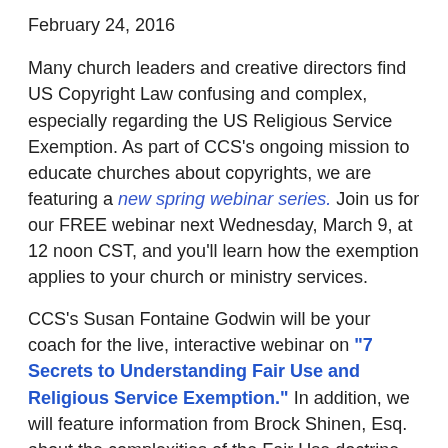February 24, 2016
Many church leaders and creative directors find US Copyright Law confusing and complex, especially regarding the US Religious Service Exemption. As part of CCS's ongoing mission to educate churches about copyrights, we are featuring a new spring webinar series. Join us for our FREE webinar next Wednesday, March 9, at 12 noon CST, and you'll learn how the exemption applies to your church or ministry services.
CCS's Susan Fontaine Godwin will be your coach for the live, interactive webinar on "7 Secrets to Understanding Fair Use and Religious Service Exemption." In addition, we will feature information from Brock Shinen, Esq. about the complexities of the Fair Use doctrine.
The U.S. Copyright Law has only a few exemptions, and the Religious Service Exemption (RSE) is vital for